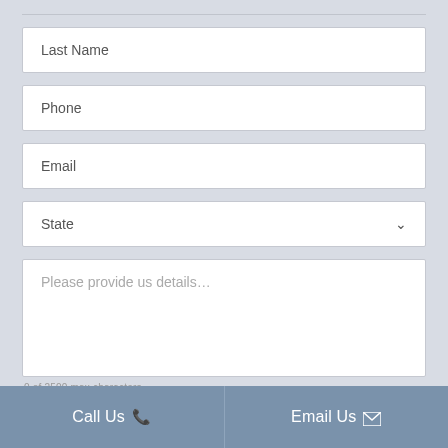Last Name
Phone
Email
State
Please provide us details…
0 of 2500 max characters
Receive emails from Baron & Budd?
Call Us   Email Us